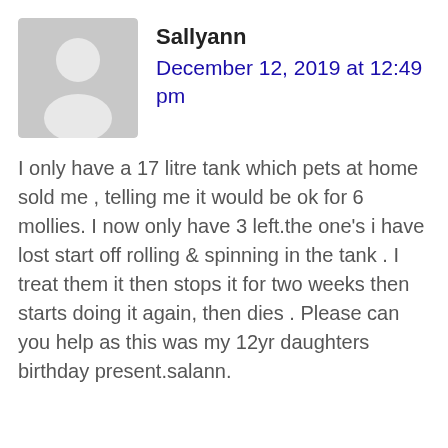[Figure (illustration): Gray circular user avatar silhouette on light gray background]
Sallyann
December 12, 2019 at 12:49 pm
I only have a 17 litre tank which pets at home sold me , telling me it would be ok for 6 mollies. I now only have 3 left.the one’s i have lost start off rolling & spinning in the tank . I treat them it then stops it for two weeks then starts doing it again, then dies . Please can you help as this was my 12yr daughters birthday present.salann.